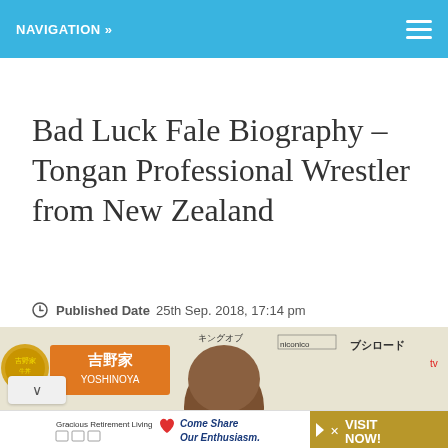NAVIGATION »
Bad Luck Fale Biography – Tongan Professional Wrestler from New Zealand
Published Date   25th Sep. 2018, 17:14 pm
[Figure (photo): Photo of Bad Luck Fale wrestler at a Japanese wrestling event, with Yoshinoya and niconico sponsor banners visible in background]
[Figure (other): Advertisement banner: Gracious Retirement Living – Come Share Our Enthusiasm. VISIT NOW!]